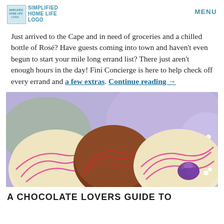SIMPLIFIED HOME LIFE LOGO | MENU
Just arrived to the Cape and in need of groceries and a chilled bottle of Rosé? Have guests coming into town and haven't even begun to start your mile long errand list? There just aren't enough hours in the day! Fini Concierge is here to help check off every errand and a few extras. Continue reading →
[Figure (photo): Close-up photo of chocolate truffles with pink and red drizzle, white flowers, and a purple rose in the background]
A CHOCOLATE LOVERS GUIDE TO